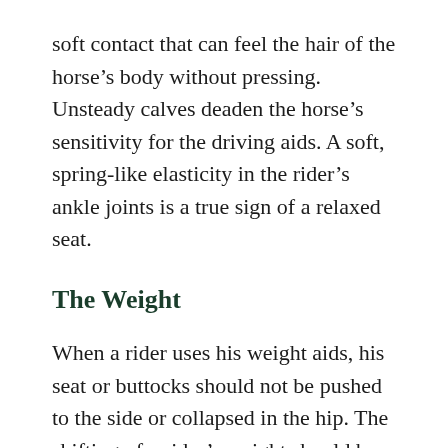soft contact that can feel the hair of the horse’s body without pressing. Unsteady calves deaden the horse’s sensitivity for the driving aids. A soft, spring-like elasticity in the rider’s ankle joints is a true sign of a relaxed seat.
The Weight
When a rider uses his weight aids, his seat or buttocks should not be pushed to the side or collapsed in the hip. The shifting of a rider’s weight should be a result of the turning of the torso toward the inside. The rider’s shoulders rotate so they remain parallel to the shoulders of the horse. Shifting the rider’s